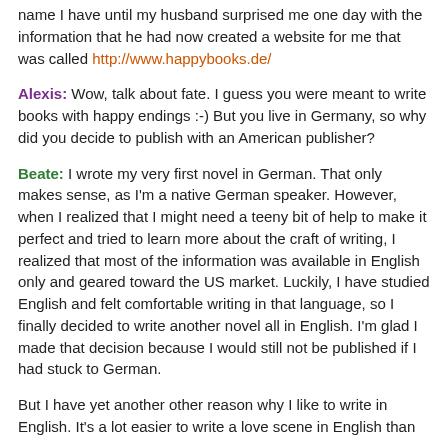name I have until my husband surprised me one day with the information that he had now created a website for me that was called http://www.happybooks.de/
Alexis: Wow, talk about fate. I guess you were meant to write books with happy endings :-) But you live in Germany, so why did you decide to publish with an American publisher?
Beate: I wrote my very first novel in German. That only makes sense, as I'm a native German speaker. However, when I realized that I might need a teeny bit of help to make it perfect and tried to learn more about the craft of writing, I realized that most of the information was available in English only and geared toward the US market. Luckily, I have studied English and felt comfortable writing in that language, so I finally decided to write another novel all in English. I'm glad I made that decision because I would still not be published if I had stuck to German.
But I have yet another other reason why I like to write in English. It's a lot easier to write a love scene in English than